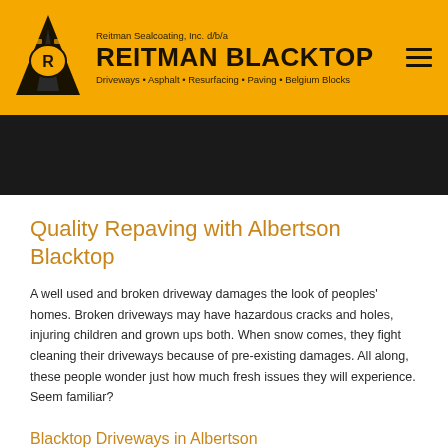Reitman Sealcoating, Inc. d/b/a REITMAN BLACKTOP — Driveways • Asphalt • Resurfacing • Paving • Belgium Blocks
[Figure (logo): Reitman Blacktop logo — triangular road shape with tractor/paver icon and letter R inside an oval, on golden yellow background]
[Figure (photo): Dark/black hero banner image strip]
Quality Repaving with Albertson Blacktop
A well used and broken driveway damages the look of peoples' homes. Broken driveways may have hazardous cracks and holes, injuring children and grown ups both. When snow comes, they fight cleaning their driveways because of pre-existing damages. All along, these people wonder just how much fresh issues they will experience. Seem familiar?
Blacktop Driveways in Albertson
For upwards of twenty five years, Reitman Sealcoating, Inc. has helped those who are in Albertson with blacktop paving and repair. If